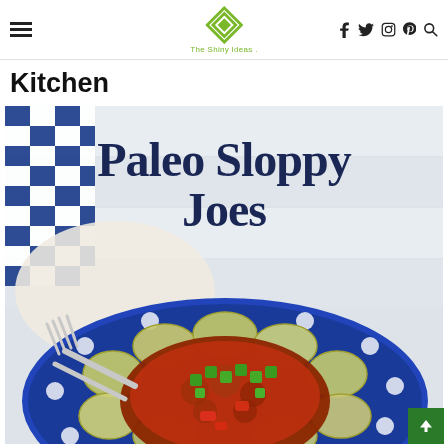The Shiny Ideas — Kitchen
Kitchen
[Figure (photo): Food photo of Paleo Sloppy Joes served on a blue polka-dot plate with zucchini/chip rounds, topped with meat sauce and diced green peppers, with a fork visible. Text overlay reads 'Paleo Sloppy Joes' in bold dark blue serif font.]